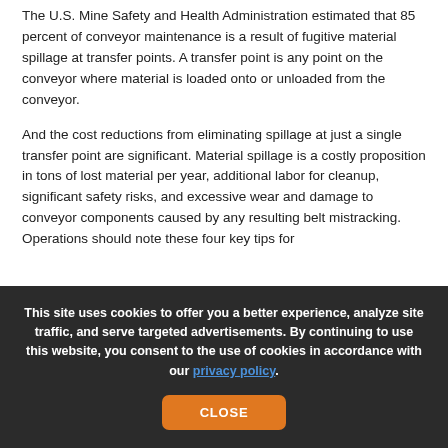The U.S. Mine Safety and Health Administration estimated that 85 percent of conveyor maintenance is a result of fugitive material spillage at transfer points. A transfer point is any point on the conveyor where material is loaded onto or unloaded from the conveyor.
And the cost reductions from eliminating spillage at just a single transfer point are significant. Material spillage is a costly proposition in tons of lost material per year, additional labor for cleanup, significant safety risks, and excessive wear and damage to conveyor components caused by any resulting belt mistracking. Operations should note these four key tips for
This site uses cookies to offer you a better experience, analyze site traffic, and serve targeted advertisements. By continuing to use this website, you consent to the use of cookies in accordance with our privacy policy.
CLOSE